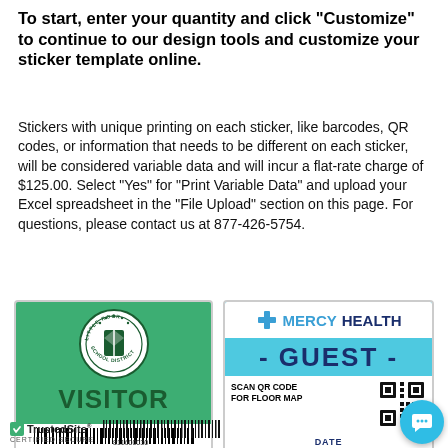To start, enter your quantity and click "Customize" to continue to our design tools and customize your sticker template online.
Stickers with unique printing on each sticker, like barcodes, QR codes, or information that needs to be different on each sticker, will be considered variable data and will incur a flat-rate charge of $125.00. Select "Yes" for "Print Variable Data" and upload your Excel spreadsheet in the "File Upload" section on this page. For questions, please contact us at 877-426-5754.
[Figure (illustration): Little Rock School District Visitor sticker in green with circular seal logo and VISITOR text with barcode]
[Figure (illustration): Mercy Health Guest badge in blue/white with logo, GUEST text, QR code scan section and DATE field]
TrustedSite CERTIFIED SECURE 811600030